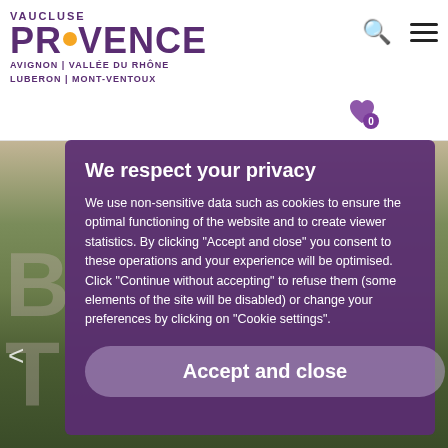[Figure (logo): Vaucluse Provence tourism logo with purple text and sun icon, subtitle: AVIGNON | VALLÉE DU RHÔNE LUBERON | MONT-VENTOUX]
We respect your privacy
We use non-sensitive data such as cookies to ensure the optimal functioning of the website and to create viewer statistics. By clicking "Accept and close" you consent to these operations and your experience will be optimised. Click "Continue without accepting" to refuse them (some elements of the site will be disabled) or change your preferences by clicking on "Cookie settings".
Accept and close